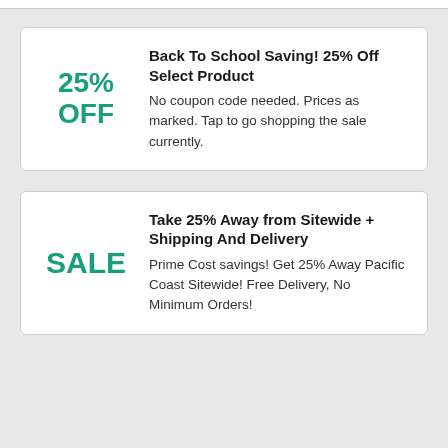Back To School Saving! 25% Off Select Product
No coupon code needed. Prices as marked. Tap to go shopping the sale currently.
Take 25% Away from Sitewide + Shipping And Delivery
Prime Cost savings! Get 25% Away Pacific Coast Sitewide! Free Delivery, No Minimum Orders!